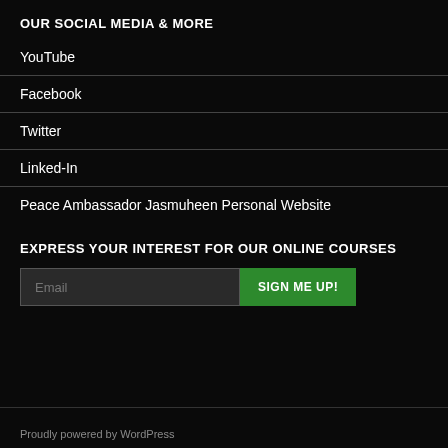OUR SOCIAL MEDIA & MORE
YouTube
Facebook
Twitter
Linked-In
Peace Ambassador Jasmuheen Personal Website
EXPRESS YOUR INTEREST FOR OUR ONLINE COURSES
Email  SIGN ME UP!
Proudly powered by WordPress